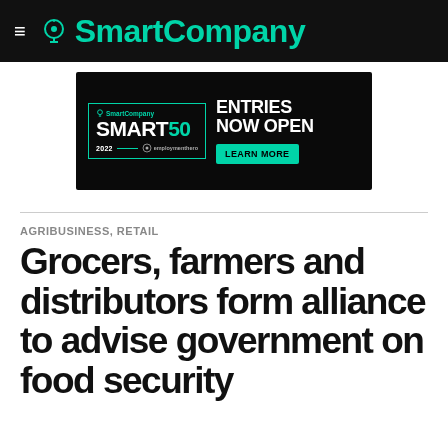SmartCompany
[Figure (screenshot): SmartCompany Smart50 2022 advertisement banner with 'ENTRIES NOW OPEN' and 'LEARN MORE' button, sponsored by employmenthero]
AGRIBUSINESS, RETAIL
Grocers, farmers and distributors form alliance to advise government on food security